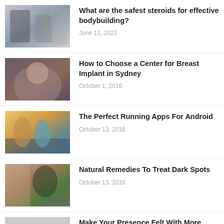[Figure (photo): Two people in a gym, one holding a tablet]
What are the safest steroids for effective bodybuilding?
June 11, 2022
[Figure (photo): Close-up of woman in grey top]
How to Choose a Center for Breast Implant in Sydney
October 1, 2016
[Figure (photo): Two people running outdoors at sunset]
The Perfect Running Apps For Android
October 13, 2016
[Figure (photo): Woman in kitchen with dark curly hair]
Natural Remedies To Treat Dark Spots
October 13, 2016
[Figure (screenshot): Instagram related image with blue background]
Make Your Presence Felt With More